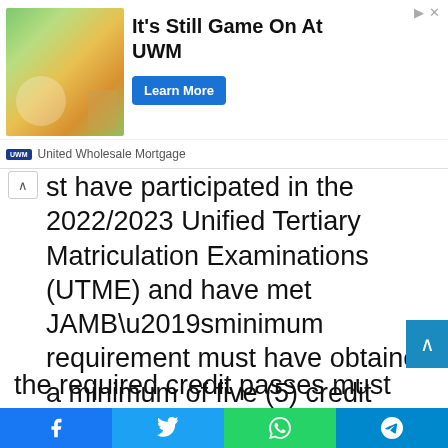[Figure (other): Advertisement banner for United Wholesale Mortgage with text 'It's Still Game On At UWM', a Learn More button, and an outdoor photo]
st have participated in the 2022/2023 Unified Tertiary Matriculation Examinations (UTME) and have met JAMB’sminimum requirement must have obtained a minimum of five (5) credit passes at not more than two (2) sittings in WAEC (SSCE)/NECO (SSCE)/GCE O’LEVEL or its equivalent.
the required credit passes must include English language and other subjects relevant to course of study